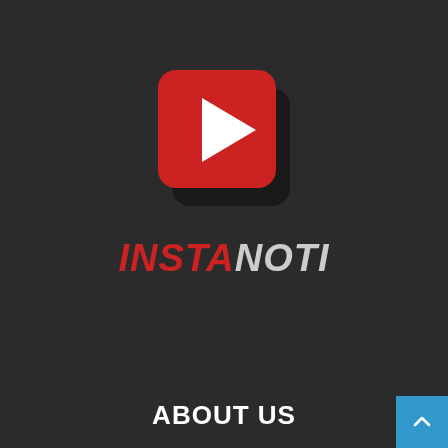[Figure (logo): InstaNoti logo: a red rounded-square with a white play triangle on top, a dark shadow/second layer behind it, with the text INSTANOTI below in red italic bold and grey italic.]
ABOUT US
Instanoti is your gaming, technology, anime and movies website. We provide you with the latest breaking news and